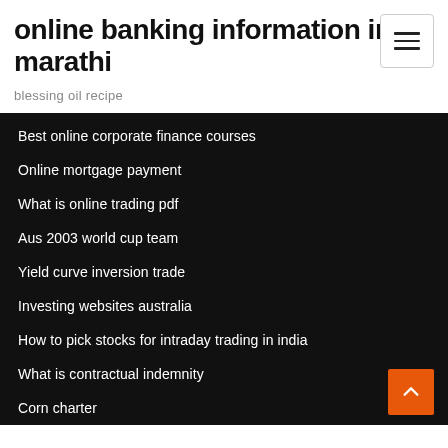online banking information in marathi
blessing oil recipe
Best online corporate finance courses
Online mortgage payment
What is online trading pdf
Aus 2003 world cup team
Yield curve inversion trade
Investing websites australia
How to pick stocks for intraday trading in india
What is contractual indemnity
Corn charter